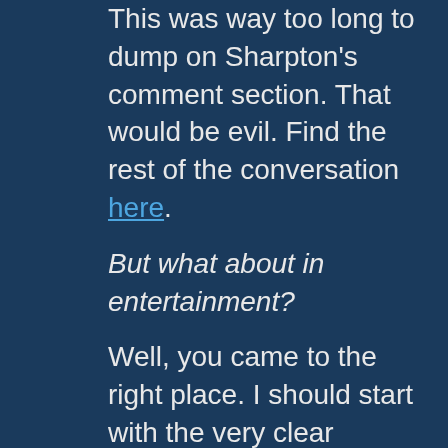This was way too long to dump on Sharpton's comment section. That would be evil. Find the rest of the conversation here.
But what about in entertainment?
Well, you came to the right place. I should start with the very clear disclaimer that, as the savvy reviewers over at Christianity Today could tell you, it's a mistake to limit one's search for Truth and Love and Redemption in entertainment solely to films with Christian characters . . . but this is about how Christians themselves are portrayed, so we'll let it slide.
I should also note that, as you may already know, I firmly oppose the Michael Medved, "Hollywood vs. Religion" nonsense that posits some sort of intentional, strategic assault on our faith by the entertainment industry . . . as if it were ideologically